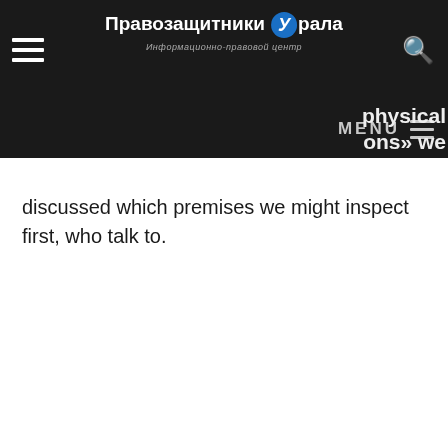Правозащитники Урала — Информационно-правовой центр
physical ons» we discussed which premises we might inspect first, who talk to.